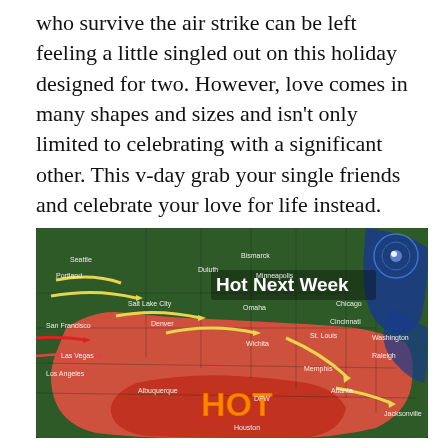who survive the air strike can be left feeling a little singled out on this holiday designed for two. However, love comes in many shapes and sizes and isn't only limited to celebrating with a significant other. This v-day grab your single friends and celebrate your love for life instead. Any of these activities will no doubt create a memorable holiday for you and even the most cynical critics of saint valentine. After all, all is fair in love and war.
[Figure (map): Weather map of the United States showing hot temperatures next week, with large text reading 'Hot Next Week' and 'HOT' overlaid on a red-colored map indicating high temperatures. Yellow arrows indicate wind/air flow patterns moving across the country. Cities labeled include Seattle, Portland, San Francisco, Las Vegas, Los Angeles, Salt Lake City, Denver, Albuquerque, Bismarck, Duluth, Minneapolis, Omaha, Wichita, DFW, Dallas, Houston, Memphis, Atlanta, Jacksonville, Raleigh, Washington, St. Louis, Cincinnati, Chicago, Omaha. The eastern coast shows blue cold air masses.]